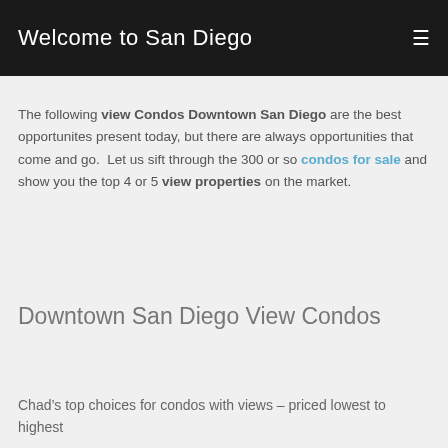Welcome to San Diego
The following view Condos Downtown San Diego are the best opportunites present today, but there are always opportunities that come and go.  Let us sift through the 300 or so condos for sale and show you the top 4 or 5 view properties on the market.
Downtown San Diego View Condos
Chad’s top choices for condos with views – priced lowest to highest
[Figure (photo): Sky/clouds image placeholder]
Park Place – Great City